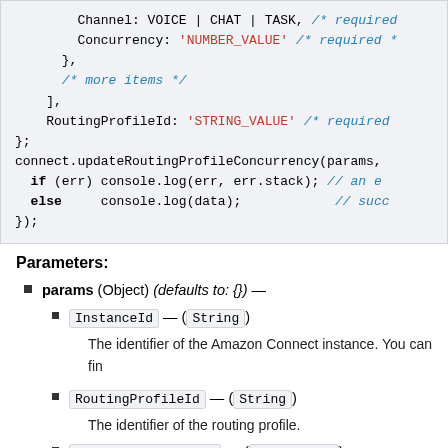[Figure (screenshot): Code block showing JavaScript for updateRoutingProfileConcurrency with params object including Channel (VOICE | CHAT | TASK), Concurrency ('NUMBER_VALUE'), RoutingProfileId ('STRING_VALUE'), and callback with err/data handling.]
Parameters:
params (Object) (defaults to: {}) —
InstanceId — (String)
The identifier of the Amazon Connect instance. You can fin
RoutingProfileId — (String)
The identifier of the routing profile.
MediaConcurrencies — (Array<map>)